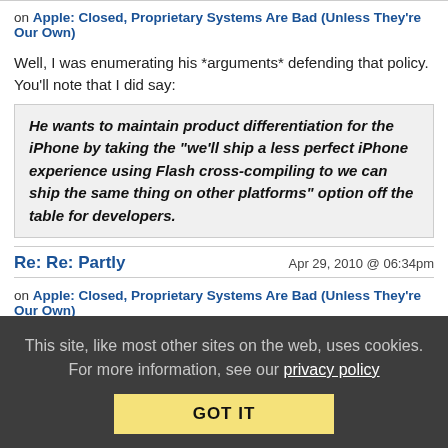on Apple: Closed, Proprietary Systems Are Bad (Unless They're Our Own)
Well, I was enumerating his *arguments* defending that policy. You'll note that I did say:
He wants to maintain product differentiation for the iPhone by taking the "we'll ship a less perfect iPhone experience using Flash cross-compiling to we can ship the same thing on other platforms" option off the table for developers.
Re: Re: Partly
Apr 29, 2010 @ 06:34pm
on Apple: Closed, Proprietary Systems Are Bad (Unless They're Our Own)
Um. You might want to revisit that methodology.
This site, like most other sites on the web, uses cookies. For more information, see our privacy policy GOT IT